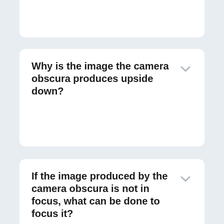What does the camera obscura model?
Why is the image the camera obscura produces upside down?
If the image produced by the camera obscura is not in focus, what can be done to focus it?
Are other materials, besides a mirror, effective? It depends...